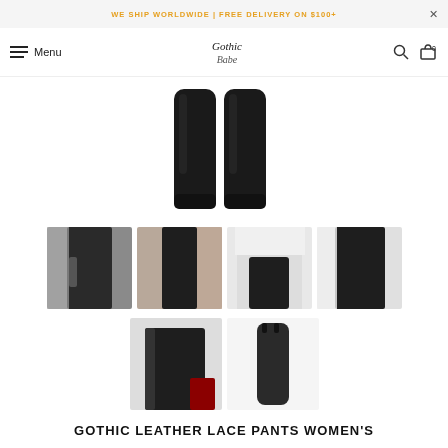WE SHIP WORLDWIDE | FREE DELIVERY ON $100+
Gothic Babe — Menu / Search / Cart (0)
[Figure (photo): Main product photo: two black leather leggings legs shown from hip to ankle against white background]
[Figure (photo): Thumbnail 1: close-up of black leather leggings waistband area with lace detail, person wearing white top]
[Figure (photo): Thumbnail 2: black leather leggings full leg view on marble-style floor]
[Figure (photo): Thumbnail 3: person wearing white blouse and black leather leggings, sitting]
[Figure (photo): Thumbnail 4: close-up of black leather leggings waistband from behind]
[Figure (photo): Thumbnail 5: front lower body view of black leather leggings with red shoe]
[Figure (photo): Thumbnail 6: full-body flat lay of black leather leggings on white background]
GOTHIC LEATHER LACE PANTS WOMEN'S...